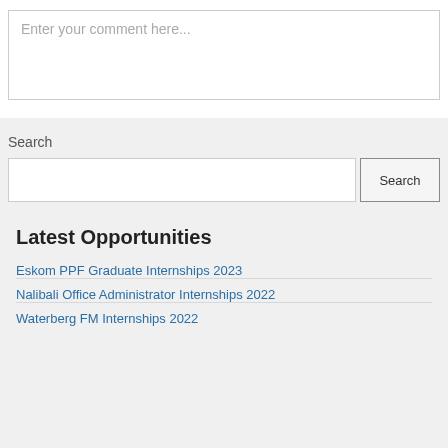Enter your comment here...
Search
Search
Latest Opportunities
Eskom PPF Graduate Internships 2023
Nalibali Office Administrator Internships 2022
Waterberg FM Internships 2022